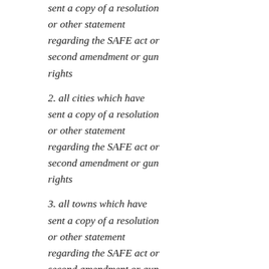sent a copy of a resolution or other statement regarding the SAFE act or second amendment or gun rights
2. all cities which have sent a copy of a resolution or other statement regarding the SAFE act or second amendment or gun rights
3. all towns which have sent a copy of a resolution or other statement regarding the SAFE act or second amendment or gun rights
4. all villages which have